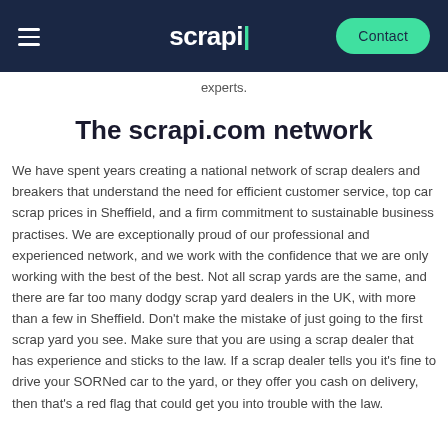scrapi | Contact
experts.
The scrapi.com network
We have spent years creating a national network of scrap dealers and breakers that understand the need for efficient customer service, top car scrap prices in Sheffield, and a firm commitment to sustainable business practises. We are exceptionally proud of our professional and experienced network, and we work with the confidence that we are only working with the best of the best. Not all scrap yards are the same, and there are far too many dodgy scrap yard dealers in the UK, with more than a few in Sheffield. Don't make the mistake of just going to the first scrap yard you see. Make sure that you are using a scrap dealer that has experience and sticks to the law. If a scrap dealer tells you it's fine to drive your SORNed car to the yard, or they offer you cash on delivery, then that's a red flag that could get you into trouble with the law.